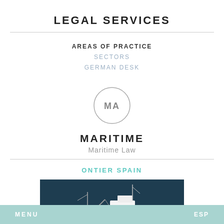LEGAL SERVICES
AREAS OF PRACTICE
SECTORS
GERMAN DESK
[Figure (logo): Circle icon with initials MA in grey]
MARITIME
Maritime Law
ONTIER SPAIN
[Figure (photo): Aerial photo of a ship at sea with teal/dark blue water]
MENU   ESP